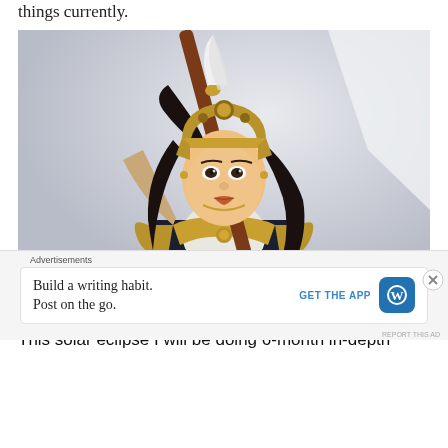things currently.
[Figure (photo): A woman in ornate fantasy warrior costume with golden armor, elaborate headdress, and holding a decorative staff/spear, against a light gray background.]
This solar eclipse I will be doing 6-month in-depth
Advertisements
Build a writing habit. Post on the go.
GET THE APP